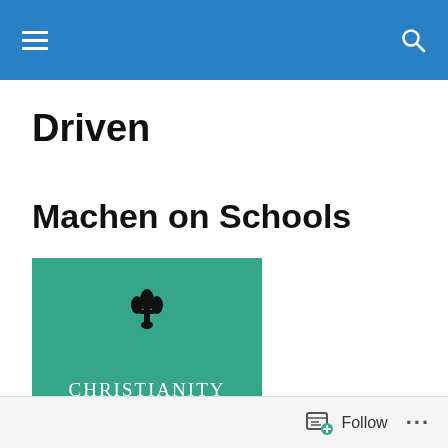Driven
Machen on Schools
[Figure (photo): Book cover of 'Christianity & Liberalism' with a teal/green background, a decorative floral emblem at the top center, and white serif text reading 'Christianity & Liberalism']
Follow